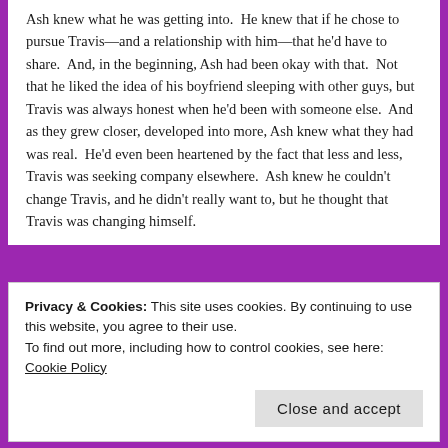Ash knew what he was getting into.  He knew that if he chose to pursue Travis—and a relationship with him—that he'd have to share.  And, in the beginning, Ash had been okay with that.  Not that he liked the idea of his boyfriend sleeping with other guys, but Travis was always honest when he'd been with someone else.  And as they grew closer, developed into more, Ash knew what they had was real.  He'd even been heartened by the fact that less and less, Travis was seeking company elsewhere.  Ash knew he couldn't change Travis, and he didn't really want to, but he thought that Travis was changing himself.
[Figure (other): Advertisement with bold text 'and a better world.', an Apply button, and a circular photo of a man with glasses and beard.]
Privacy & Cookies: This site uses cookies. By continuing to use this website, you agree to their use.
To find out more, including how to control cookies, see here: Cookie Policy
Close and accept